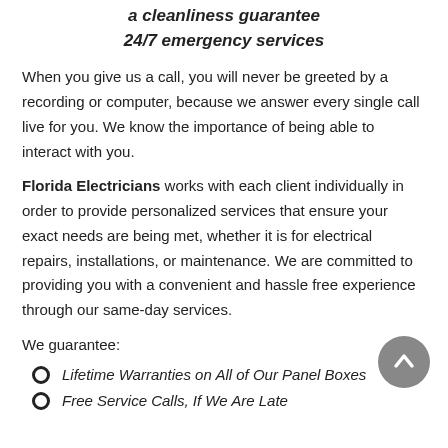a cleanliness guarantee
24/7 emergency services
When you give us a call, you will never be greeted by a recording or computer, because we answer every single call live for you. We know the importance of being able to interact with you.
Florida Electricians works with each client individually in order to provide personalized services that ensure your exact needs are being met, whether it is for electrical repairs, installations, or maintenance. We are committed to providing you with a convenient and hassle free experience through our same-day services.
We guarantee:
Lifetime Warranties on All of Our Panel Boxes
Free Service Calls, If We Are Late